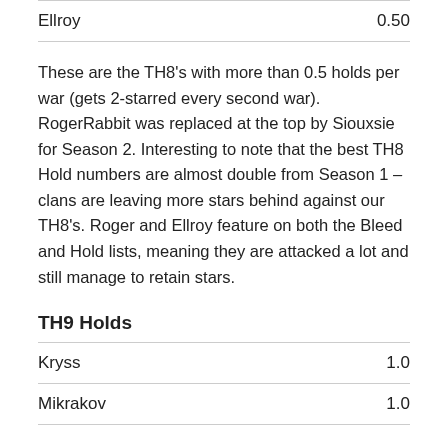| Name | Value |
| --- | --- |
| Ellroy | 0.50 |
These are the TH8's with more than 0.5 holds per war (gets 2-starred every second war). RogerRabbit was replaced at the top by Siouxsie for Season 2. Interesting to note that the best TH8 Hold numbers are almost double from Season 1 – clans are leaving more stars behind against our TH8's. Roger and Ellroy feature on both the Bleed and Hold lists, meaning they are attacked a lot and still manage to retain stars.
TH9 Holds
| Name | Value |
| --- | --- |
| Kryss | 1.0 |
| Mikrakov | 1.0 |